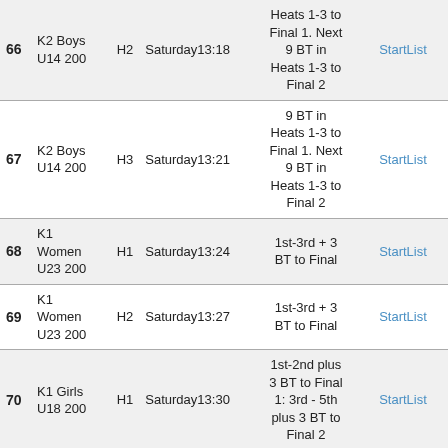| # | Event | Heat | Time | Qualification | Link |
| --- | --- | --- | --- | --- | --- |
| 66 | K2 Boys U14 200 | H2 | Saturday13:18 | Heats 1-3 to Final 1. Next 9 BT in Heats 1-3 to Final 2 | StartList |
| 67 | K2 Boys U14 200 | H3 | Saturday13:21 | 9 BT in Heats 1-3 to Final 1. Next 9 BT in Heats 1-3 to Final 2 | StartList |
| 68 | K1 Women U23 200 | H1 | Saturday13:24 | 1st-3rd + 3 BT to Final | StartList |
| 69 | K1 Women U23 200 | H2 | Saturday13:27 | 1st-3rd + 3 BT to Final | StartList |
| 70 | K1 Girls U18 200 | H1 | Saturday13:30 | 1st-2nd plus 3 BT to Final 1: 3rd - 5th plus 3 BT to Final 2 | StartList |
| 71 | K1 Girls U18 200 |  |  | 1st-2nd plus 3 BT to Final |  |